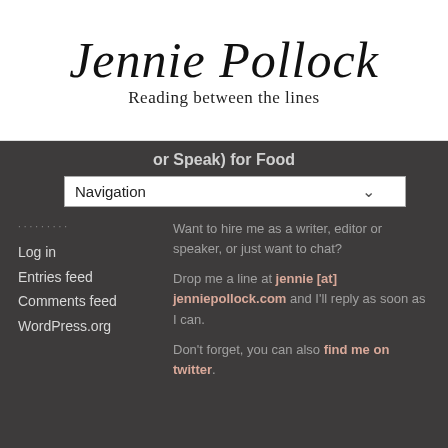Jennie Pollock
Reading between the lines
or Speak) for Food
Navigation
Log in
Entries feed
Comments feed
WordPress.org
Want to hire me as a writer, editor or speaker, or just want to chat?
Drop me a line at jennie [at] jenniepollock.com and I'll reply as soon as I can.
Don't forget, you can also find me on twitter.